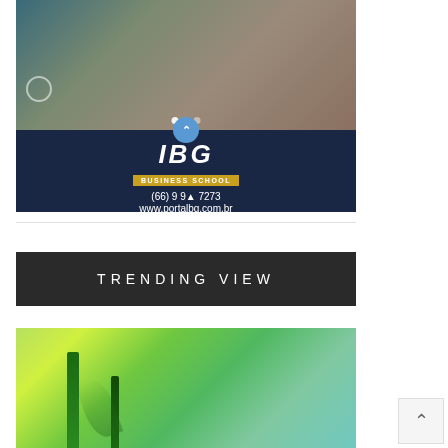[Figure (photo): IBG Business School advertisement showing young people with phone and headphones, with phone number (66) 9 9...7273 and website www.portalbg.com.br, with 'Saiba mais' call to action]
TRENDING VIEW
[Figure (photo): Photo of green plants/leaves and bottles, likely related to natural/organic products]